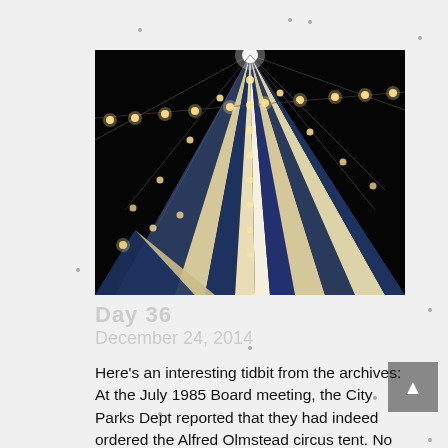[Figure (photo): Night-time photograph taken from below looking up at a circus tent with blue and white striped panels, lit by string lights along the tent poles and support wires against a black sky.]
Day 36
December 24, 2014
Here's an interesting tidbit from the archives: At the July 1985 Board meeting, the City Parks Dept reported that they had indeed ordered the Alfred Olmstead circus tent. No mention of how much that cost or where it was located...anybody out there remember Spokane having a [circus] and where it